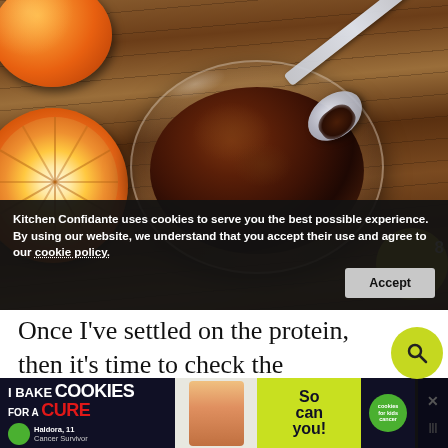[Figure (photo): A glass bowl containing a dark brown sauce or paste with a spoon, next to halved and whole oranges on a wooden table surface]
Kitchen Confidante uses cookies to serve you the best possible experience. By using our website, we understand that you accept their use and agree to our cookie policy.
Once I've settled on the protein, then it's time to check the produce and the pantry to see what stri... the... cured...on
[Figure (advertisement): I Bake COOKIES For A CURE - Haldora, 11 Cancer Survivor - So can you! cookies for kids cancer - advertisement banner]